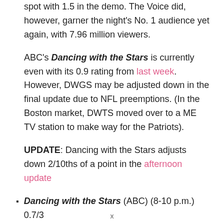spot with 1.5 in the demo. The Voice did, however, garner the night's No. 1 audience yet again, with 7.96 million viewers.
ABC's Dancing with the Stars is currently even with its 0.9 rating from last week. However, DWGS may be adjusted down in the final update due to NFL preemptions. (In the Boston market, DWTS moved over to a ME TV station to make way for the Patriots).
UPDATE: Dancing with the Stars adjusts down 2/10ths of a point in the afternoon update
Dancing with the Stars (ABC) (8-10 p.m.) 0.7/3
x